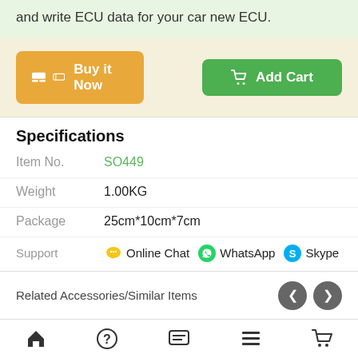and write ECU data for your car new ECU.
[Figure (screenshot): Buy it Now and Add Cart buttons on a product page]
Specifications
Item No.    SO449
Weight    1.00KG
Package    25cm*10cm*7cm
Support    Online Chat  WhatsApp  Skype
Related Accessories/Similar Items
[Figure (screenshot): Bottom navigation bar with home, help, chat, list, and cart icons]